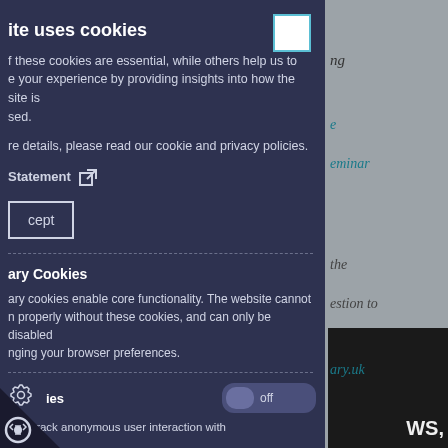[Figure (screenshot): Cookie consent modal overlay on a website. Dark navy background modal on the left side with cookie policy text, accept button, and analytics toggle. Behind the modal on the right is a gray webpage with teal italic text snippets visible.]
ite uses cookies
f these cookies are essential, while others help us to e your experience by providing insights into how the site is sed.
re details, please read our cookie and privacy policies.
Statement [external link icon]
cept
ary Cookies
ary cookies enable core functionality. The website cannot n properly without these cookies, and can only be disabled nging your browser preferences.
ies  off
n us track anonymous user interaction with